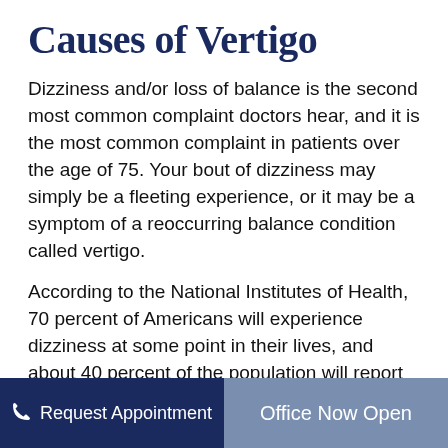Causes of Vertigo
Dizziness and/or loss of balance is the second most common complaint doctors hear, and it is the most common complaint in patients over the age of 75. Your bout of dizziness may simply be a fleeting experience, or it may be a symptom of a reoccurring balance condition called vertigo.
According to the National Institutes of Health, 70 percent of Americans will experience dizziness at some point in their lives, and about 40 percent of the population will report having vertigo at least once in their life. The prevalence of vertigo is greater in women and increases
Request Appointment   Office Now Open